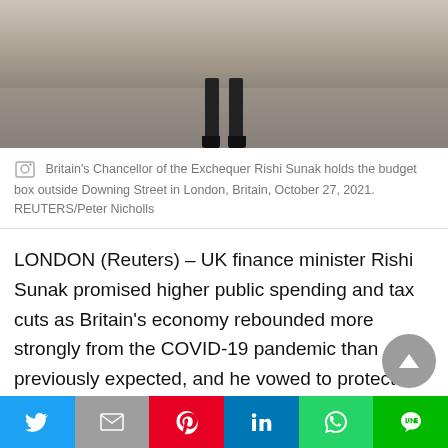[Figure (photo): Photo of Britain's Chancellor of the Exchequer Rishi Sunak standing outside Downing Street, showing legs and feet, stone pavement background]
Britain's Chancellor of the Exchequer Rishi Sunak holds the budget box outside Downing Street in London, Britain, October 27, 2021. REUTERS/Peter Nicholls
LONDON (Reuters) – UK finance minister Rishi Sunak promised higher public spending and tax cuts as Britain's economy rebounded more strongly from the COVID-19 pandemic than previously expected, and he vowed to protect households from rising inflation.
He announced multibillion-pound investments to